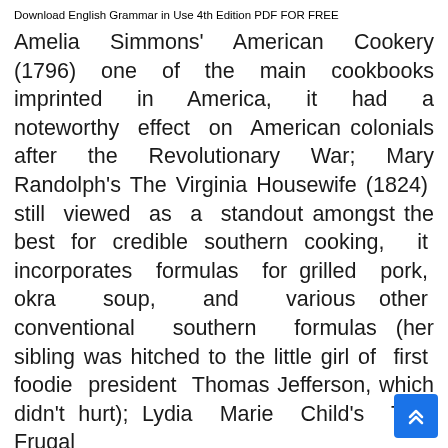Download English Grammar in Use 4th Edition PDF FOR FREE
Amelia Simmons' American Cookery (1796) one of the main cookbooks imprinted in America, it had a noteworthy effect on American colonials after the Revolutionary War; Mary Randolph's The Virginia Housewife (1824) still viewed as a standout amongst the best for credible southern cooking, it incorporates formulas for grilled pork, okra soup, and various other conventional southern formulas (her sibling was hitched to the little girl of first foodie president Thomas Jefferson, which didn't hurt); Lydia Marie Child's The Frugal